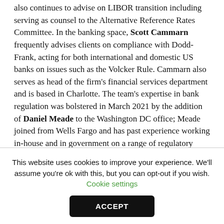also continues to advise on LIBOR transition including serving as counsel to the Alternative Reference Rates Committee. In the banking space, Scott Cammarn frequently advises clients on compliance with Dodd-Frank, acting for both international and domestic US banks on issues such as the Volcker Rule. Cammarn also serves as head of the firm's financial services department and is based in Charlotte. The team's expertise in bank regulation was bolstered in March 2021 by the addition of Daniel Meade to the Washington DC office; Meade joined from Wells Fargo and has past experience working in-house and in government on a range of regulatory issues.
This website uses cookies to improve your experience. We'll assume you're ok with this, but you can opt-out if you wish. Cookie settings
ACCEPT